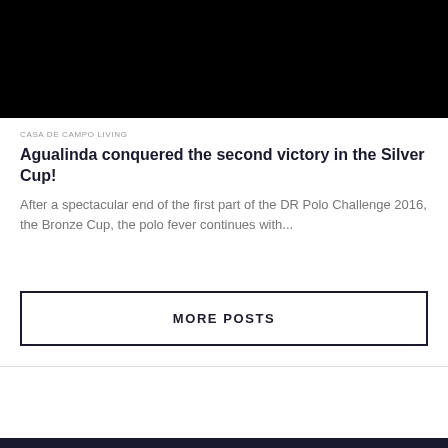[Figure (photo): Black image placeholder at top of article card]
CASA DE CAMPO LIVING
Agualinda conquered the second victory in the Silver Cup!
After a spectacular end of the first part of the DR Polo Challenge 2016, the Bronze Cup, the polo fever continues with...
MORE POSTS